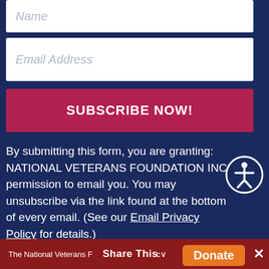Name
Email Address
SUBSCRIBE NOW!
By submitting this form, you are granting: NATIONAL VETERANS FOUNDATION INC permission to email you. You may unsubscribe via the link found at the bottom of every email. (See our Email Privacy Policy for details.)
[Figure (illustration): Accessibility icon - circle with human figure silhouette inside]
The National Veterans Foundation is a 501c   Share This   Donate  x